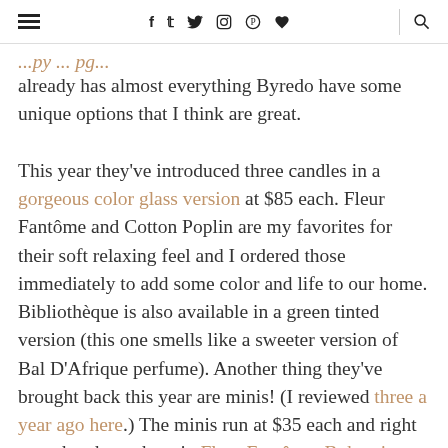≡  f  𝕏  ○  ⊕  ♥  🔍
already has almost everything Byredo have some unique options that I think are great.

This year they've introduced three candles in a gorgeous color glass version at $85 each. Fleur Fantôme and Cotton Poplin are my favorites for their soft relaxing feel and I ordered those immediately to add some color and life to our home. Bibliothèque is also available in a green tinted version (this one smells like a sweeter version of Bal D'Afrique perfume). Another thing they've brought back this year are minis! (I reviewed three a year ago here.) The minis run at $35 each and right now they have them in Fleur Fantôme, Bohemia, Cotton